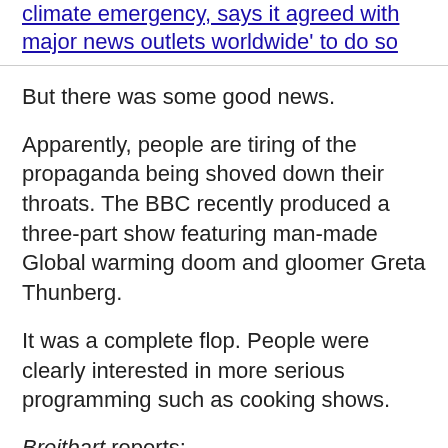climate emergency, says it agreed with major news outlets worldwide' to do so
But there was some good news.
Apparently, people are tiring of the propaganda being shoved down their throats. The BBC recently produced a three-part show featuring man-made Global warming doom and gloomer Greta Thunberg.
It was a complete flop. People were clearly interested in more serious programming such as cooking shows.
Breitbart reports: